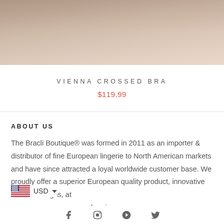[Figure (photo): Partial product photo showing a model wearing lingerie, cropped close, with warm beige/taupe tones]
VIENNA CROSSED BRA
$119.99
ABOUT US
The Bracli Boutique® was formed in 2011 as an importer & distributor of fine European lingerie to North American markets and have since attracted a loyal worldwide customer base. We proudly offer a superior European quality product, innovative fashion designs, at affordable prices.